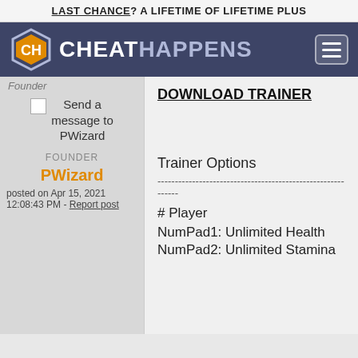LAST CHANCE? A LIFETIME OF LIFETIME PLUS
[Figure (logo): CheatHappens logo with hexagon icon and site name]
Founder
Send a message to PWizard
FOUNDER
PWizard posted on Apr 15, 2021 12:08:43 PM - Report post
DOWNLOAD TRAINER
Trainer Options
------------------------------------------------------------
# Player
NumPad1: Unlimited Health
NumPad2: Unlimited Stamina